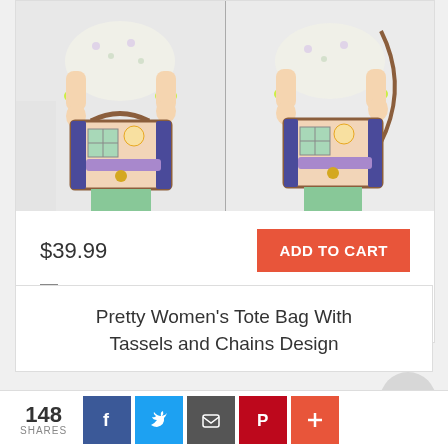[Figure (photo): Two side-by-side photos of a woman wearing a floral shirt and mint green pants holding a decorative novelty handbag shaped like a building/house with blue and brown trim]
$39.99
ADD TO CART
Add to Wish List
Add to Compare
Pretty Women's Tote Bag With Tassels and Chains Design
148 SHARES